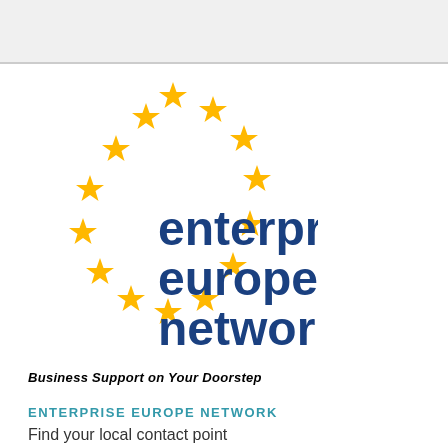[Figure (logo): Enterprise Europe Network logo with golden stars arranged in a circle and blue text reading 'enterprise europe network']
Business Support on Your Doorstep
ENTERPRISE EUROPE NETWORK
Find your local contact point
About Enterprise Europe Network
Cookies
This site uses cookies to offer you a better browsing experience. Find out more on how we use cookies and how you can change your settings.
I accept cookies  I refuse cookies